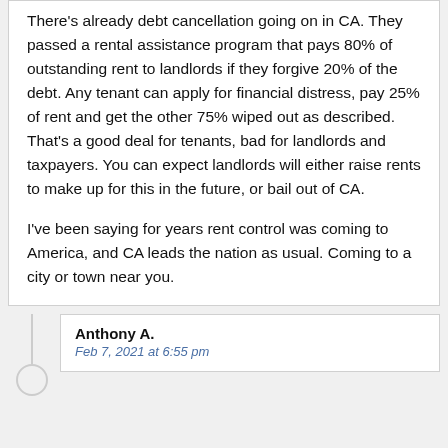There's already debt cancellation going on in CA. They passed a rental assistance program that pays 80% of outstanding rent to landlords if they forgive 20% of the debt. Any tenant can apply for financial distress, pay 25% of rent and get the other 75% wiped out as described. That's a good deal for tenants, bad for landlords and taxpayers. You can expect landlords will either raise rents to make up for this in the future, or bail out of CA.

I've been saying for years rent control was coming to America, and CA leads the nation as usual. Coming to a city or town near you.
Anthony A.
Feb 7, 2021 at 6:55 pm